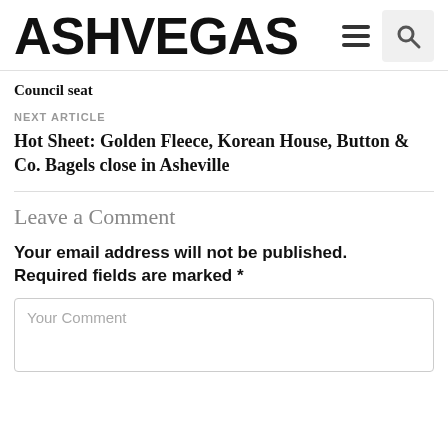ASHVEGAS
Council seat
NEXT ARTICLE
Hot Sheet: Golden Fleece, Korean House, Button & Co. Bagels close in Asheville
Leave a Comment
Your email address will not be published. Required fields are marked *
Your Comment